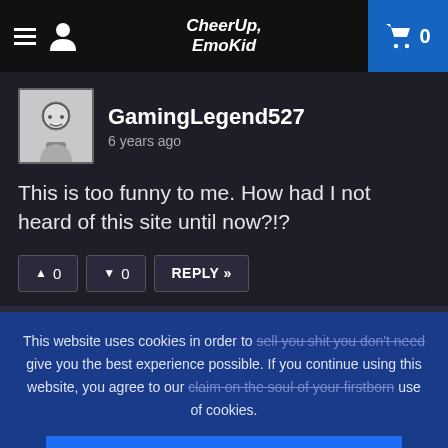CheerUp, EmoKid — Navigation bar with hamburger menu, user icon, logo, and cart (0)
GamingLegend527
6 years ago
This is too funny to me. How had I not heard of this site until now?!?
▲ 0   ▼ 0   REPLY »
This website uses cookies in order to sell you shit you don't need give you the best experience possible. If you continue using this website, you agree to our claim on the soul of your firstborn use of cookies.
DIDN'T READ BUT OK
Please visit our Privacy Policy to learn more.